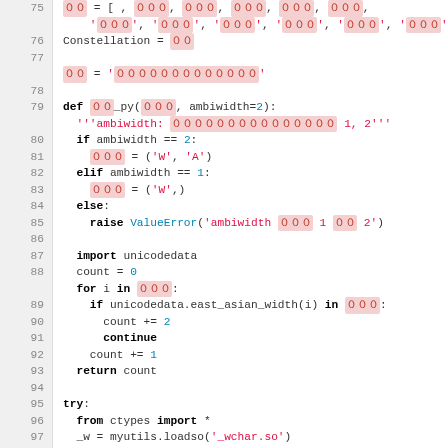[Figure (screenshot): Python source code viewer showing lines 75-101 with line numbers on the left. Code includes CJK (Chinese/Japanese/Korean) characters shown with pink background highlights, Python keywords in bold, string literals in red, and numeric literals in blue.]